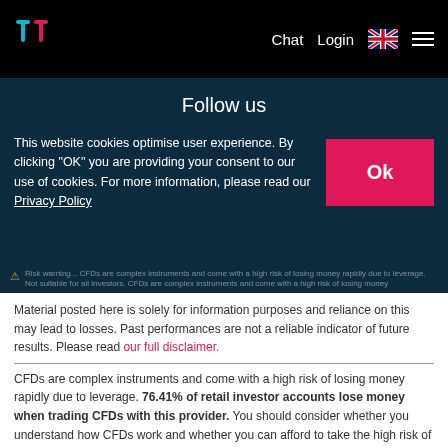Chat Login [UK flag] [menu]
Follow us
[Figure (illustration): Seven circular social media icon buttons with white outlines on dark background: phone/WhatsApp, email, Facebook, Twitter, Instagram, LinkedIn, YouTube]
This website cookies optimise user experience. By clicking "OK" you are providing your consent to our use of cookies. For more information, please read our Privacy Policy
Risk warning... CFDs are complex instruments and come with a high risk of losing money
Material posted here is solely for information purposes and reliance on this may lead to losses. Past performances are not a reliable indicator of future results. Please read our full disclaimer.
CFDs are complex instruments and come with a high risk of losing money rapidly due to leverage. 76.41% of retail investor accounts lose money when trading CFDs with this provider. You should consider whether you understand how CFDs work and whether you can afford to take the high risk of losing your money.